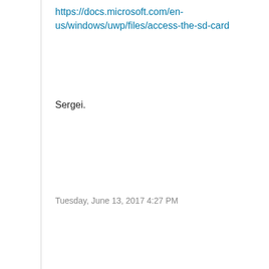https://docs.microsoft.com/en-us/windows/uwp/files/access-the-sd-card
Sergei.
Tuesday, June 13, 2017 4:27 PM
[Figure (photo): Avatar photo of Kolomiets Sergei]
Kolomiets Sergei Fujitsu UK&I 1,640 Points
[Figure (infographic): Comment icon (grey square with chat bubble)]
[Figure (infographic): Upvote arrow icon]
0
Sign in to vote